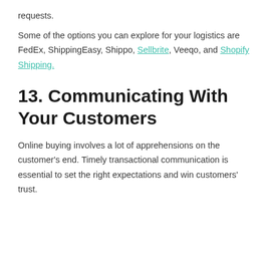requests.
Some of the options you can explore for your logistics are FedEx, ShippingEasy, Shippo, Sellbrite, Veeqo, and Shopify Shipping.
13. Communicating With Your Customers
Online buying involves a lot of apprehensions on the customer's end. Timely transactional communication is essential to set the right expectations and win customers' trust.